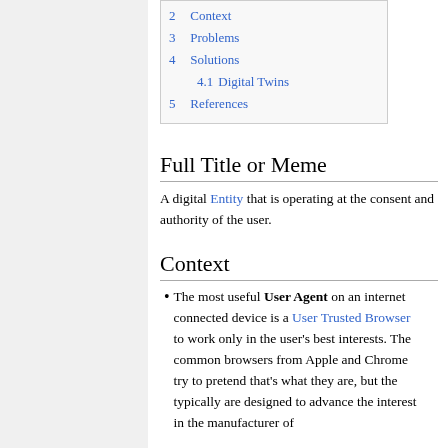2  Context
3  Problems
4  Solutions
4.1  Digital Twins
5  References
Full Title or Meme
A digital Entity that is operating at the consent and authority of the user.
Context
The most useful User Agent on an internet connected device is a User Trusted Browser to work only in the user's best interests. The common browsers from Apple and Chrome try to pretend that's what they are, but the typically are designed to advance the interest in the manufacturer of